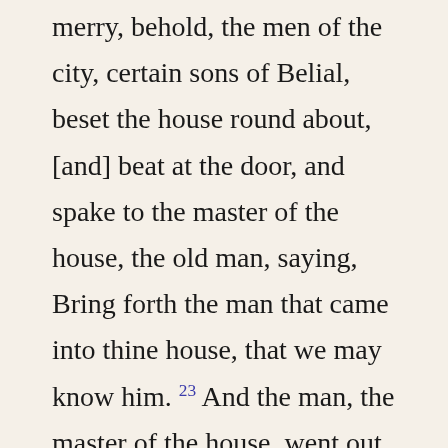merry, behold, the men of the city, certain sons of Belial, beset the house round about, [and] beat at the door, and spake to the master of the house, the old man, saying, Bring forth the man that came into thine house, that we may know him. 23 And the man, the master of the house, went out unto them, and said unto them, Nay, my brethren, [nay,] I pray you, do not [so] wickedly; seeing that this man is come into mine house, do not this folly. 24 Behold, [here is] my daughter a maiden, and his concubine; them I will bring out now, and humble ye them, and do with them what seemeth good unto you: but unto this man do not so vile a thing. 25 But the men would not hearken to him: so the man took his concubine, and brought her forth unto them; and they knew her, and abused her all the night until